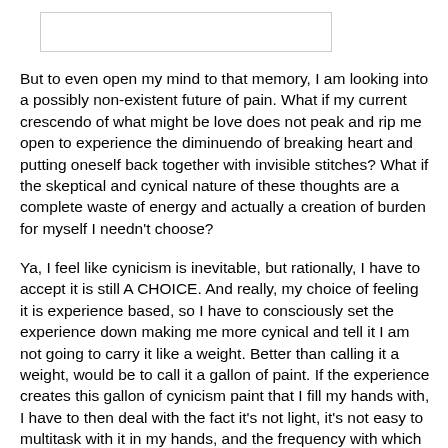[Figure (other): A blank rectangular image placeholder at the top of the page]
But to even open my mind to that memory, I am looking into a possibly non-existent future of pain. What if my current crescendo of what might be love does not peak and rip me open to experience the diminuendo of breaking heart and putting oneself back together with invisible stitches? What if the skeptical and cynical nature of these thoughts are a complete waste of energy and actually a creation of burden for myself I needn't choose?
Ya, I feel like cynicism is inevitable, but rationally, I have to accept it is still A CHOICE. And really, my choice of feeling it is experience based, so I have to consciously set the experience down making me more cynical and tell it I am not going to carry it like a weight. Better than calling it a weight, would be to call it a gallon of paint. If the experience creates this gallon of cynicism paint that I fill my hands with, I have to then deal with the fact it's not light, it's not easy to multitask with it in my hands, and the frequency with which I open that gallon of cynicism, shove in my paintbrush, and paint it onto things around me is MY CHOICE. If I set that gallon down, I don't forget it just because I set it down, and